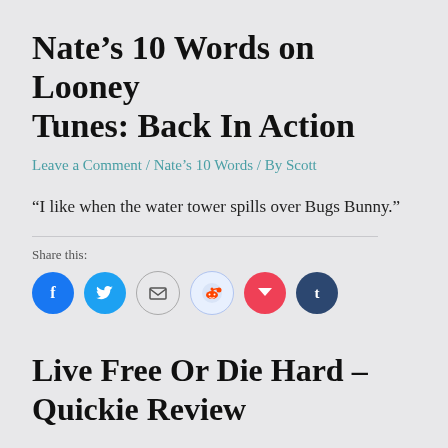Nate’s 10 Words on Looney Tunes: Back In Action
Leave a Comment / Nate’s 10 Words / By Scott
“I like when the water tower spills over Bugs Bunny.”
Share this:
[Figure (infographic): Social sharing icons: Facebook (blue circle), Twitter (blue circle), Email (envelope), Reddit (light blue circle), Pocket (red circle), Tumblr (dark navy circle)]
Live Free Or Die Hard – Quickie Review